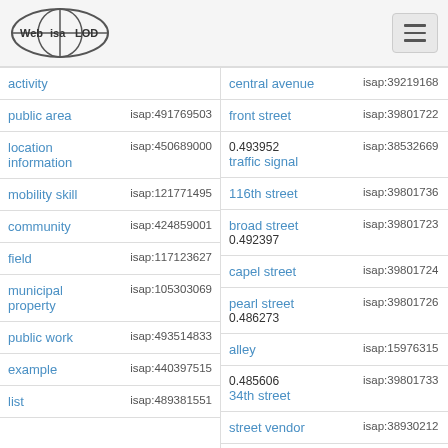Web isa LOD [logo] [hamburger menu]
| concept | isap id |
| --- | --- |
| activity |  |
| public area | isap:491769503 |
| location information | isap:450689000 |
| mobility skill | isap:121771495 |
| community | isap:424859001 |
| field | isap:117123627 |
| municipal property | isap:105303069 |
| public work | isap:493514833 |
| example | isap:440397515 |
| list | isap:489381551 |
| concept | isap id |
| --- | --- |
| central avenue | isap:39219168 |
| front street | isap:39801722 |
| traffic signal | isap:38532669 |
| 116th street | isap:39801736 |
| broad street | isap:39801723 |
| capel street | isap:39801724 |
| pearl street | isap:39801726 |
| alley | isap:15976315 |
| 34th street | isap:39801733 |
| street vendor | isap:38930212 |
| busy main | isap:39801735 |